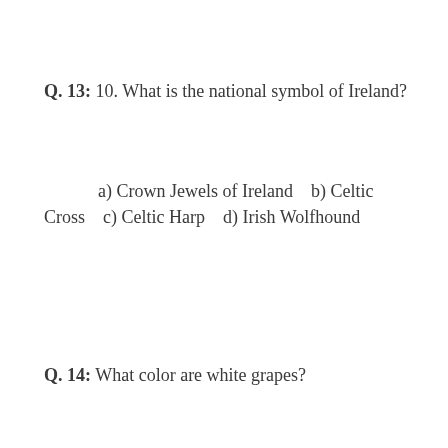Q. 13:  10. What is the national symbol of Ireland?
a)  Crown Jewels of Ireland    b)  Celtic Cross    c) Celtic Harp    d) Irish Wolfhound
Q. 14:  What color are white grapes?